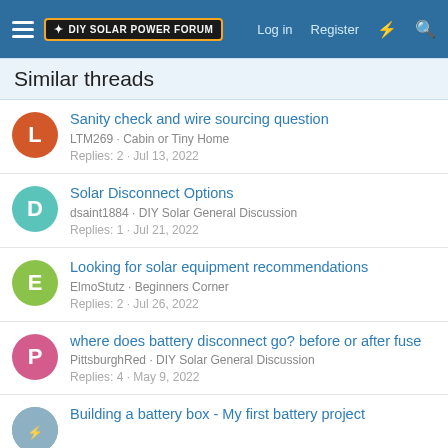DIY Solar Power Forum | Log in | Register
Similar threads
Sanity check and wire sourcing question
LTM269 · Cabin or Tiny Home
Replies: 2 · Jul 13, 2022
Solar Disconnect Options
dsaint1884 · DIY Solar General Discussion
Replies: 1 · Jul 21, 2022
Looking for solar equipment recommendations
ElmoStutz · Beginners Corner
Replies: 2 · Jul 26, 2022
where does battery disconnect go? before or after fuse
PittsburghRed · DIY Solar General Discussion
Replies: 4 · May 9, 2022
Building a battery box - My first battery project